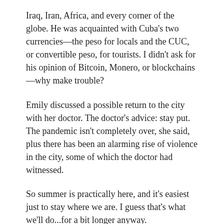Iraq, Iran, Africa, and every corner of the globe. He was acquainted with Cuba's two currencies—the peso for locals and the CUC, or convertible peso, for tourists. I didn't ask for his opinion of Bitcoin, Monero, or blockchains—why make trouble?
Emily discussed a possible return to the city with her doctor. The doctor's advice: stay put. The pandemic isn't completely over, she said, plus there has been an alarming rise of violence in the city, some of which the doctor had witnessed.
So summer is practically here, and it's easiest just to stay where we are. I guess that's what we'll do...for a bit longer anyway.
Dinner: a grilled eggplant, peppers, and onions salad along with mac 'n' cheese.